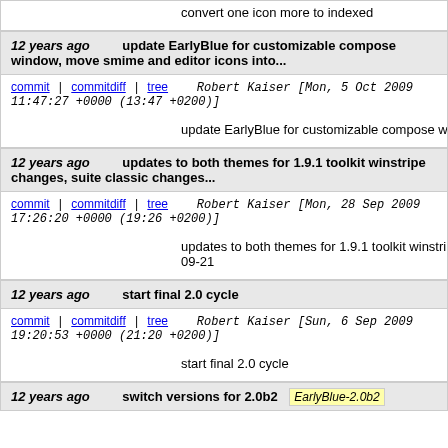convert one icon more to indexed
12 years ago   update EarlyBlue for customizable compose window, move smime and editor icons into...
commit | commitdiff | tree   Robert Kaiser [Mon, 5 Oct 2009 11:47:27 +0000 (13:47 +0200)]
update EarlyBlue for customizable compose windo...
12 years ago   updates to both themes for 1.9.1 toolkit winstripe changes, suite classic changes...
commit | commitdiff | tree   Robert Kaiser [Mon, 28 Sep 2009 17:26:20 +0000 (19:26 +0200)]
updates to both themes for 1.9.1 toolkit winstripe c... 09-21
12 years ago   start final 2.0 cycle
commit | commitdiff | tree   Robert Kaiser [Sun, 6 Sep 2009 19:20:53 +0000 (21:20 +0200)]
start final 2.0 cycle
12 years ago   switch versions for 2.0b2   EarlyBlue-2.0b2